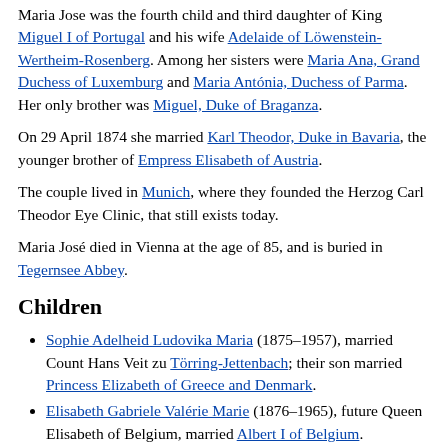Maria Jose was the fourth child and third daughter of King Miguel I of Portugal and his wife Adelaide of Löwenstein-Wertheim-Rosenberg. Among her sisters were Maria Ana, Grand Duchess of Luxemburg and Maria Antónia, Duchess of Parma. Her only brother was Miguel, Duke of Braganza.
On 29 April 1874 she married Karl Theodor, Duke in Bavaria, the younger brother of Empress Elisabeth of Austria.
The couple lived in Munich, where they founded the Herzog Carl Theodor Eye Clinic, that still exists today.
Maria José died in Vienna at the age of 85, and is buried in Tegernsee Abbey.
Children
Sophie Adelheid Ludovika Maria (1875–1957), married Count Hans Veit zu Törring-Jettenbach; their son married Princess Elizabeth of Greece and Denmark.
Elisabeth Gabriele Valérie Marie (1876–1965), future Queen Elisabeth of Belgium, married Albert I of Belgium.
Marie Gabrielle (1878–1912), married Rupprecht, Crown Prince of Bavaria.
Ludwig Wilhelm (1884–1968), married Princess Eleonore zu